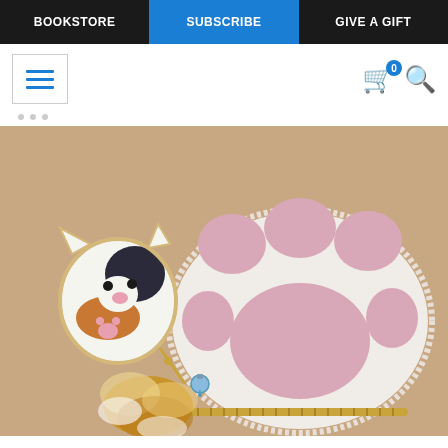BOOKSTORE | SUBSCRIBE | GIVE A GIFT
[Figure (photo): Screenshot of a website navigation bar with BOOKSTORE, SUBSCRIBE (highlighted in blue), and GIVE A GIFT links, plus a hamburger menu icon, cart icon with badge showing 0, and search icon. Below is a product photo of a fluffy white cat paw-shaped coin purse with pink pads, a cat-shaped charm tag, a furry pom-pom tail accessory, a blue bell, and a gold zipper, displayed on a brown kraft paper background.]